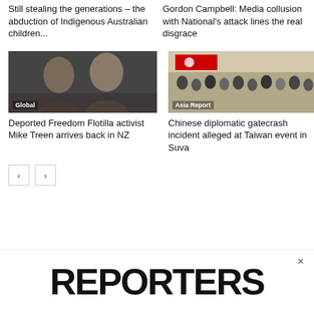Still stealing the generations – the abduction of Indigenous Australian children...
Gordon Campbell: Media collusion with National's attack lines the real disgrace
[Figure (photo): Two older men smiling closely together, one raising a fist, in a dark indoor setting. Label: Global]
[Figure (photo): Crowded indoor event with people standing, Taiwan flag visible in background. Label: Asia Report]
Deported Freedom Flotilla activist Mike Treen arrives back in NZ
Chinese diplomatic gatecrash incident alleged at Taiwan event in Suva
[Figure (other): Advertisement showing large bold text REPORTERS with a close button X]